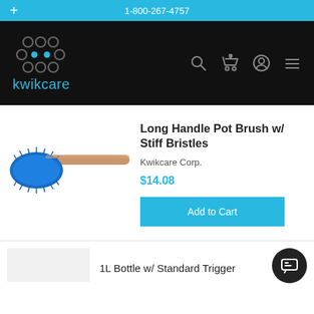1-800-267-4757
[Figure (logo): Kwikcare logo with dot-pattern icon and 'kwikcare' text in cyan on black background, with navigation icons (search, cart, account, menu)]
[Figure (photo): Long handle pot brush with blue stiff bristles and wooden handle]
Long Handle Pot Brush w/ Stiff Bristles
Kwikcare Corp.
$14.08
Add to Cart
1L Bottle w/ Standard Trigger